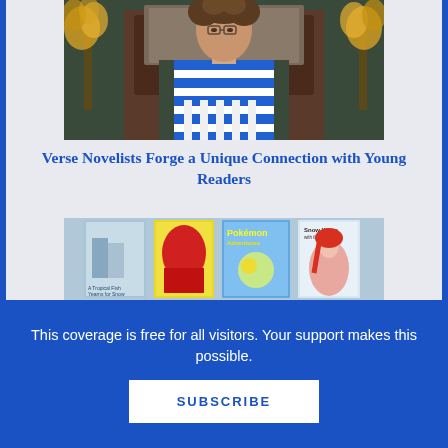[Figure (photo): A person with short curly hair wearing glasses and a blue and white horizontal striped sleeveless top, standing in front of a decorative backdrop with flowers and a dark wooden cabinet.]
Verse Novelists Forge a Unique Connection with Young Readers
[Figure (photo): Four manga/graphic novel book covers shown side by side: 'A Tropical Fish Yearns for Snow', a My Hero Academia volume, 'Pokemon Adventures', and 'Snow White with the Red Hair'.]
This coverage is free for all visitors. Your support makes this possible.
SUBSCRIBE